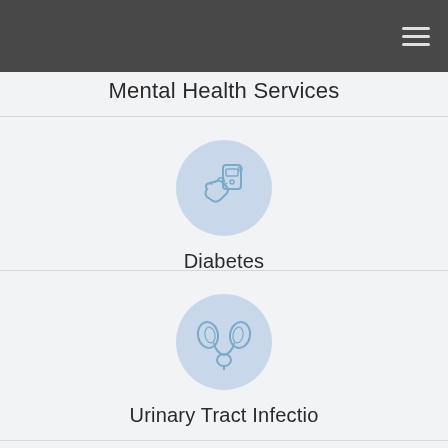Mental Health Services
[Figure (illustration): Circular light blue icon showing a hand holding a blood glucose meter device]
Diabetes
[Figure (illustration): Circular light blue icon showing kidneys and urinary tract anatomy]
Urinary Tract Infectio